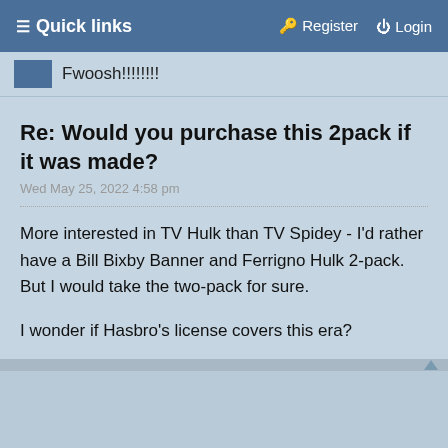≡ Quick links   🔑 Register   ⏻ Login
Fwoosh!!!!!!!!
Re: Would you purchase this 2pack if it was made?
Wed May 25, 2022 4:58 pm
More interested in TV Hulk than TV Spidey - I'd rather have a Bill Bixby Banner and Ferrigno Hulk 2-pack. But I would take the two-pack for sure.

I wonder if Hasbro's license covers this era?